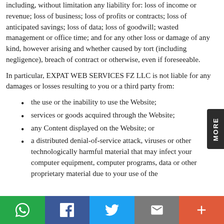including, without limitation any liability for: loss of income or revenue; loss of business; loss of profits or contracts; loss of anticipated savings; loss of data; loss of goodwill; wasted management or office time; and for any other loss or damage of any kind, however arising and whether caused by tort (including negligence), breach of contract or otherwise, even if foreseeable.
In particular, EXPAT WEB SERVICES FZ LLC is not liable for any damages or losses resulting to you or a third party from:
the use or the inability to use the Website;
services or goods acquired through the Website;
any Content displayed on the Website; or
a distributed denial-of-service attack, viruses or other technologically harmful material that may infect your computer equipment, computer programs, data or other proprietary material due to your use of the